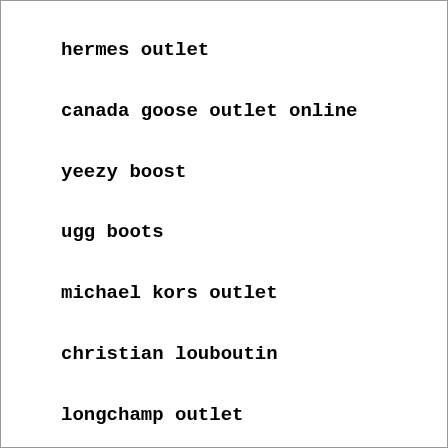hermes outlet
canada goose outlet online
yeezy boost
ugg boots
michael kors outlet
christian louboutin
longchamp outlet